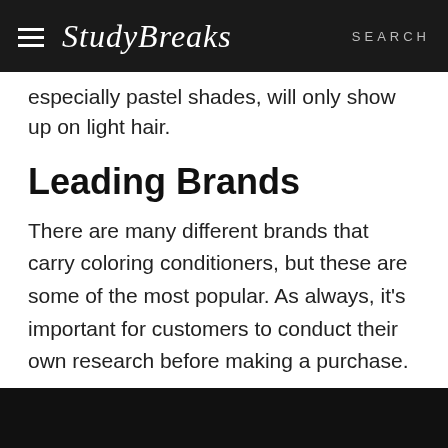Study Breaks | SEARCH
especially pastel shades, will only show up on light hair.
Leading Brands
There are many different brands that carry coloring conditioners, but these are some of the most popular. As always, it’s important for customers to conduct their own research before making a purchase.
Overtone: I’ve tried Overtone personally and I